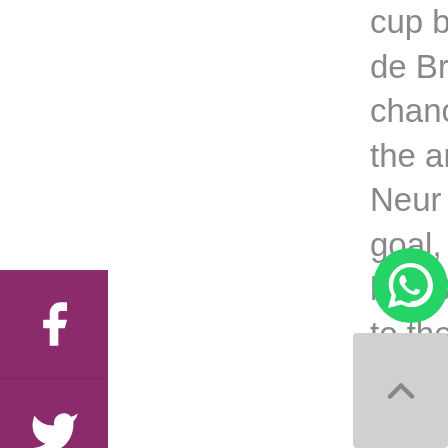cup belonged to Wolfburg. Kevin de Bruyne had missed an early chance at goal after heading it over the anxious and cheeky Manuel Neur only to miss an easy open goal, but he made up for it in the late 80th minute by giving an assist to the one and only Lord Bendtner to equalize the score. Not only was Bednter able to score the equalizing goal but also the final penalty to make them the Super Cup champions.. Yves Saint Laurent Handbags Replica
replica ysl bags That's right. A beer launched by a German immigrant in 1829 to quench the
[Figure (other): Social media icons bar with Facebook, Twitter, and Instagram icons on purple background]
[Figure (other): WhatsApp floating button (green circle with phone icon)]
[Figure (other): Scroll to top button (grey square with upward chevron arrow)]